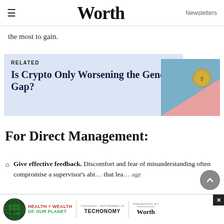≡  Worth  Newsletters
the most to gain.
[Figure (other): Related article card with blue background showing link to 'Is Crypto Only Worsening the Gender Gap?' with an image of a coin on blue and pink background]
For Direct Management:
Give effective feedback. Discomfort and fear of misunderstanding often compromise a supervisor's abi… that lea… age
[Figure (infographic): Advertisement banner: Health + Wealth of Our Planet event, Thursday September, presented by Techonomy and Worth, with globe icon. Close button visible.]